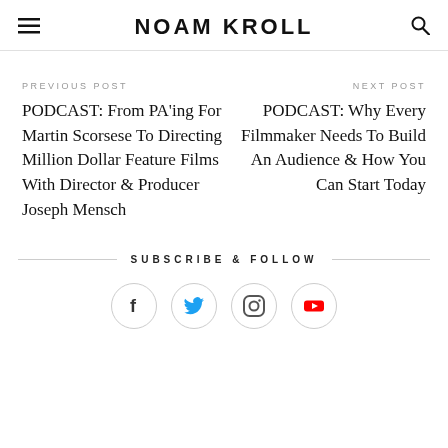NOAM KROLL
PREVIOUS POST
PODCAST: From PA'ing For Martin Scorsese To Directing Million Dollar Feature Films With Director & Producer Joseph Mensch
NEXT POST
PODCAST: Why Every Filmmaker Needs To Build An Audience & How You Can Start Today
SUBSCRIBE & FOLLOW
[Figure (illustration): Social media icons: Facebook, Twitter, Instagram, YouTube in circular borders]